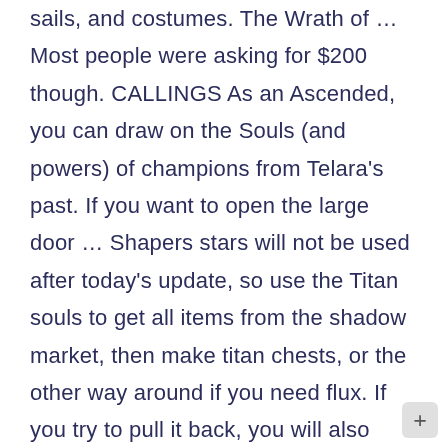sails, and costumes. The Wrath of … Most people were asking for $200 though. CALLINGS As an Ascended, you can draw on the Souls (and powers) of champions from Telara's past. If you want to open the large door … Shapers stars will not be used after today's update, so use the Titan souls to get all items from the shadow market, then make titan chests, or the other way around if you need flux. If you try to pull it back, you will also suck in his arrow (which still kills you). I've been running through some shadow titans and I'm not receiving anything for it in terms of titan souls. Join the elite of players. View all the Trophies here Maxxed1gam3r 3 years ago . Basically if you get high enough magic find it will save you lots of resources. It's implied the protagonist is not the first to go Titan-hunting.